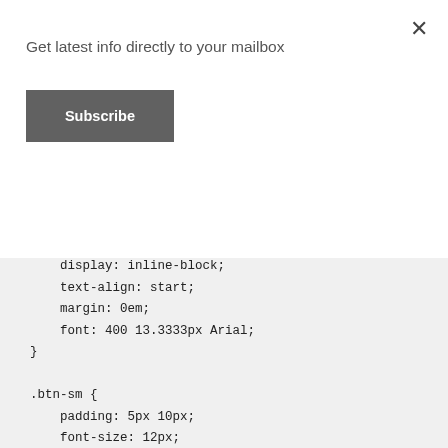Get latest info directly to your mailbox
Subscribe
×
text-indent: 0px;
    text-shadow: none;
    display: inline-block;
    text-align: start;
    margin: 0em;
    font: 400 13.3333px Arial;
}

.btn-sm {
    padding: 5px 10px;
    font-size: 12px;
    line-height: 1.5;
    border-radius: 3px;
}